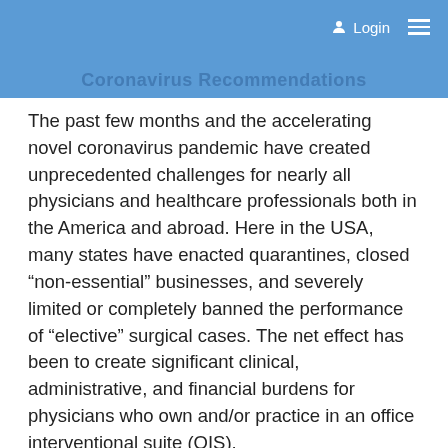Login
Coronavirus Recommendations
The past few months and the accelerating novel coronavirus pandemic have created unprecedented challenges for nearly all physicians and healthcare professionals both in the America and abroad. Here in the USA, many states have enacted quarantines, closed “non-essential” businesses, and severely limited or completely banned the performance of “elective” surgical cases. The net effect has been to create significant clinical, administrative, and financial burdens for physicians who own and/or practice in an office interventional suite (OIS).
Most OIS owners/physicians have a significant